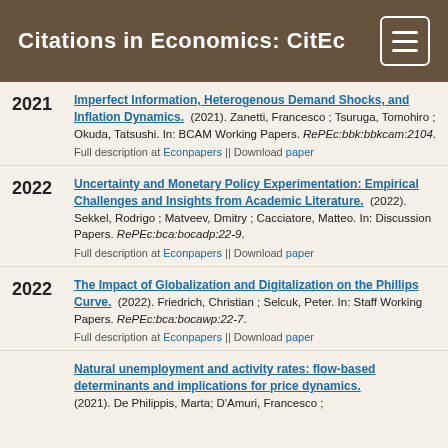Citations in Economics: CitEc
Imperfect Information, Heterogenous Demand Shocks, and Inflation Dynamics. (2021). Zanetti, Francesco ; Tsuruga, Tomohiro ; Okuda, Tatsushi. In: BCAM Working Papers. RePEc:bbk:bbkcam:2104. Full description at Econpapers || Download paper
Uncertainty and Monetary Policy Experimentation: Empirical Challenges and Insights from Academic Literature. (2022). Sekkel, Rodrigo ; Matveev, Dmitry ; Cacciatore, Matteo. In: Discussion Papers. RePEc:bca:bocadp:22-9. Full description at Econpapers || Download paper
The Impact of Globalization and Digitalization on the Phillips Curve. (2022). Friedrich, Christian ; Selcuk, Peter. In: Staff Working Papers. RePEc:bca:bocawp:22-7. Full description at Econpapers || Download paper
Natural unemployment and activity rates: flow-based determinants and implications for price dynamics. (2021). De Philippis, Marta; D'Amuri, Francesco ;